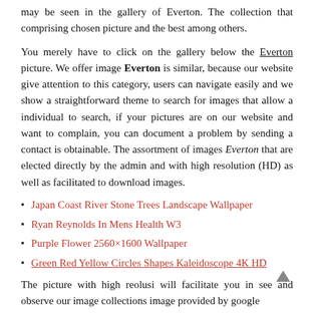may be seen in the gallery of Everton. The collection that comprising chosen picture and the best among others.
You merely have to click on the gallery below the Everton picture. We offer image Everton is similar, because our website give attention to this category, users can navigate easily and we show a straightforward theme to search for images that allow a individual to search, if your pictures are on our website and want to complain, you can document a problem by sending a contact is obtainable. The assortment of images Everton that are elected directly by the admin and with high resolution (HD) as well as facilitated to download images.
Japan Coast River Stone Trees Landscape Wallpaper
Ryan Reynolds In Mens Health W3
Purple Flower 2560×1600 Wallpaper
Green Red Yellow Circles Shapes Kaleidoscope 4K HD
The picture with high reolusi will facilitate you in see and observe our image collections image provided by google